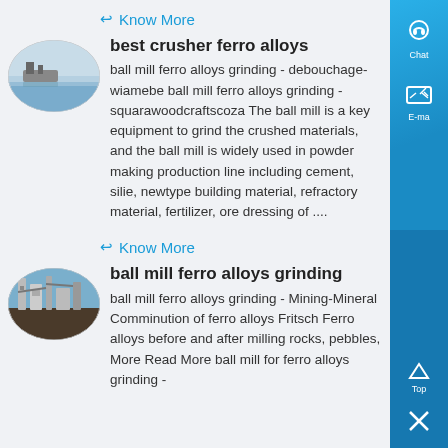Know More
[Figure (photo): Oval photo of a waterfront or industrial river scene]
best crusher ferro alloys
ball mill ferro alloys grinding - debouchage-wiamebe ball mill ferro alloys grinding - squarawoodcraftscoza The ball mill is a key equipment to grind the crushed materials, and the ball mill is widely used in powder making production line including cement, silie, newtype building material, refractory material, fertilizer, ore dressing of ....
Know More
[Figure (photo): Oval photo of an industrial facility with machinery and equipment]
ball mill ferro alloys grinding
ball mill ferro alloys grinding - Mining-Mineral Comminution of ferro alloys Fritsch Ferro alloys before and after milling rocks, pebbles, More Read More ball mill for ferro alloys grinding -